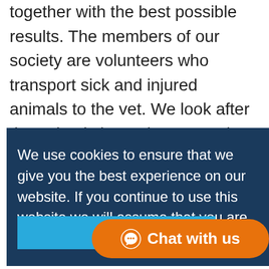together with the best possible results. The members of our society are volunteers who transport sick and injured animals to the vet. We look after the animals in our homes and ensure they receive the medical treatment required to make them well again. We have organized feeding stations for stray animals at
We use cookies to ensure that we give you the best experience on our website. If you continue to use this website we will assume that you are happy with it. Learn more
Chat with us